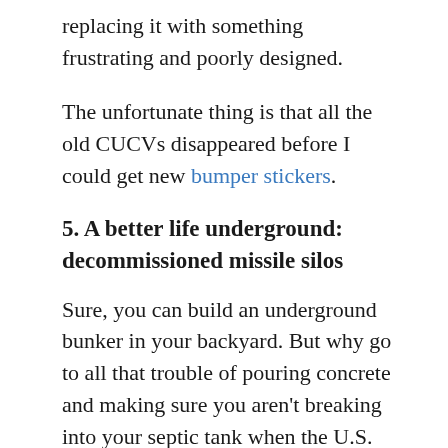replacing it with something frustrating and poorly designed.
The unfortunate thing is that all the old CUCVs disappeared before I could get new bumper stickers.
5. A better life underground: decommissioned missile silos
Sure, you can build an underground bunker in your backyard. But why go to all that trouble of pouring concrete and making sure you aren't breaking into your septic tank when the U.S. government already has dozens of vacant missile silos and communications bunkers? There's